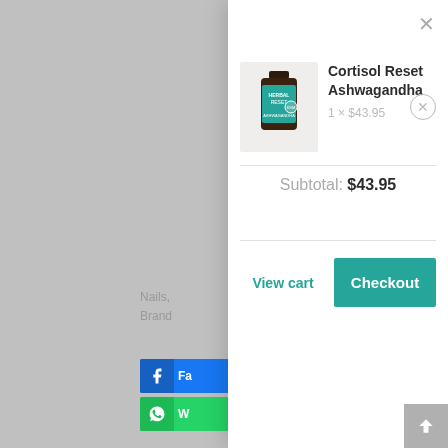[Figure (screenshot): Shopping cart modal overlay on an e-commerce website showing a product (Cortisol Reset Ashwagandha) with quantity 1 at $43.95, subtotal $43.95, and View cart / Checkout buttons. Left side shows partially visible page content with Facebook and WhatsApp share buttons.]